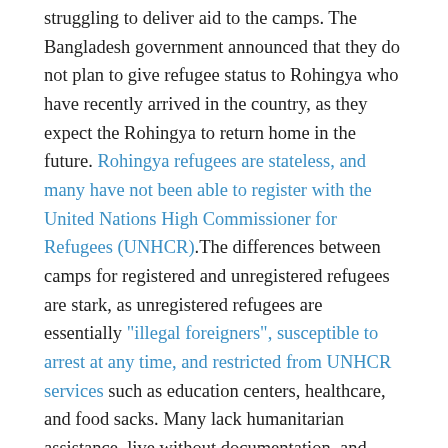struggling to deliver aid to the camps. The Bangladesh government announced that they do not plan to give refugee status to Rohingya who have recently arrived in the country, as they expect the Rohingya to return home in the future. Rohingya refugees are stateless, and many have not been able to register with the United Nations High Commissioner for Refugees (UNHCR).The differences between camps for registered and unregistered refugees are stark, as unregistered refugees are essentially "illegal foreigners", susceptible to arrest at any time, and restricted from UNHCR services such as education centers, healthcare, and food sacks. Many lack humanitarian assistance, live without documentation, and struggle to find protection from the United Nations or the country to which they fled.
There is more that the international community can and must do in order to protect the Rohingya. Recent public condemnations, while important, will not suffice. Although there has been an increased